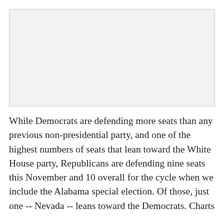[Figure (other): Image placeholder area at the top of the page, appears blank or not loaded]
While Democrats are defending more seats than any previous non-presidential party, and one of the highest numbers of seats that lean toward the White House party, Republicans are defending nine seats this November and 10 overall for the cycle when we include the Alabama special election. Of those, just one -- Nevada -- leans toward the Democrats. Charts